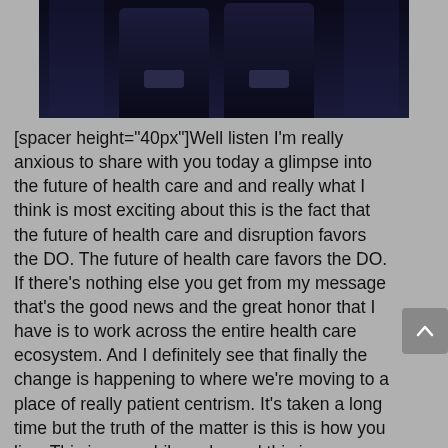[Figure (photo): Two men in dark suits standing on a stage with dark blue background, photographed from roughly waist up, hands clasped in front]
[spacer height="40px"]Well listen I'm really anxious to share with you today a glimpse into the future of health care and and really what I think is most exciting about this is the fact that the future of health care and disruption favors the DO. The future of health care favors the DO. If there's nothing else you get from my message that's the good news and the great honor that I have is to work across the entire health care ecosystem. And I definitely see that finally the change is happening to where we're moving to a place of really patient centrism. It's taken a long time but the truth of the matter is this is how you live. This is your philosophy and this is something that is now catching up with your great belief in patient centrism. Now how